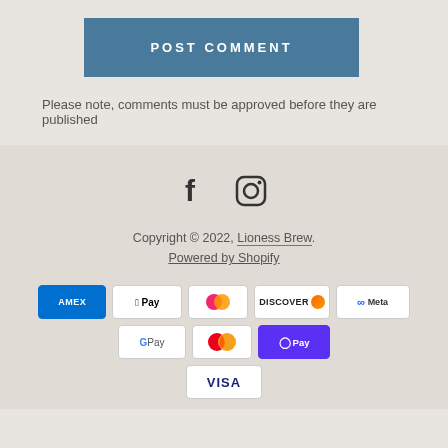POST COMMENT
Please note, comments must be approved before they are published
[Figure (other): Facebook and Instagram social media icons]
Copyright © 2022, Lioness Brew.
Powered by Shopify
[Figure (other): Payment method icons: American Express, Apple Pay, Diners Club, Discover, Meta Pay, Google Pay, Mastercard, Shop Pay, Visa]